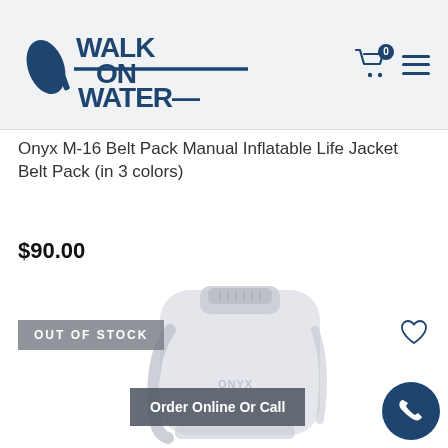[Figure (logo): Walk On Water logo in dark navy blue — stylized text with a paddle/oar incorporated]
[Figure (illustration): Gray inflatable belt pack / backpack life jacket product photo, faded/washed out appearance]
Onyx M-16 Belt Pack Manual Inflatable Life Jacket Belt Pack (in 3 colors)
$90.00
OUT OF STOCK
Order Online Or Call